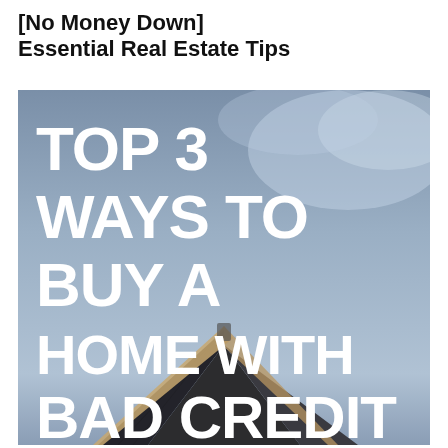[No Money Down] Essential Real Estate Tips
[Figure (illustration): Photograph of a house rooftop against a blue-grey sky with large bold white text overlay reading: TOP 3 WAYS TO BUY A HOME WITH BAD CREDIT]